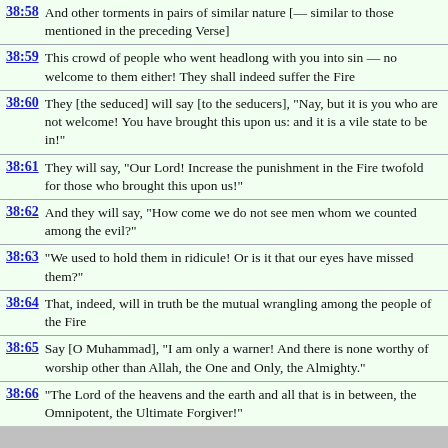38:58 And other torments in pairs of similar nature [— similar to those mentioned in the preceding Verse]
38:59 This crowd of people who went headlong with you into sin — no welcome to them either! They shall indeed suffer the Fire
38:60 They [the seduced] will say [to the seducers], "Nay, but it is you who are not welcome! You have brought this upon us: and it is a vile state to be in!"
38:61 They will say, "Our Lord! Increase the punishment in the Fire twofold for those who brought this upon us!"
38:62 And they will say, "How come we do not see men whom we counted among the evil?"
38:63 "We used to hold them in ridicule! Or is it that our eyes have missed them?"
38:64 That, indeed, will in truth be the mutual wrangling among the people of the Fire
38:65 Say [O Muhammad], "I am only a warner! And there is none worthy of worship other than Allah, the One and Only, the Almighty."
38:66 "The Lord of the heavens and the earth and all that is in between, the Omnipotent, the Ultimate Forgiver!"